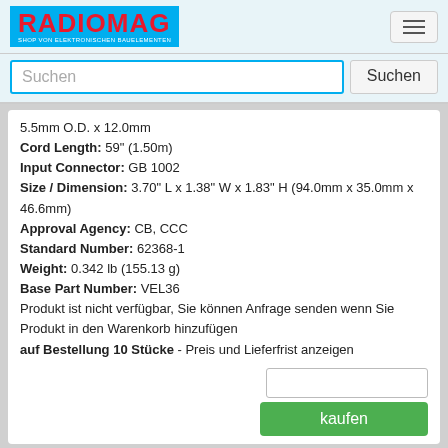[Figure (logo): RADIOMAG logo - red text on blue background with tagline SHOP VON ELEKTRONISCHEN BAUELEMENTEN]
Suchen
5.5mm O.D. x 12.0mm
Cord Length: 59" (1.50m)
Input Connector: GB 1002
Size / Dimension: 3.70" L x 1.38" W x 1.83" H (94.0mm x 35.0mm x 46.6mm)
Approval Agency: CB, CCC
Standard Number: 62368-1
Weight: 0.342 lb (155.13 g)
Base Part Number: VEL36
Produkt ist nicht verfügbar, Sie können Anfrage senden wenn Sie Produkt in den Warenkorb hinzufügen
auf Bestellung 10 Stücke - Preis und Lieferfrist anzeigen
kaufen
VEL36US120-EU-JA